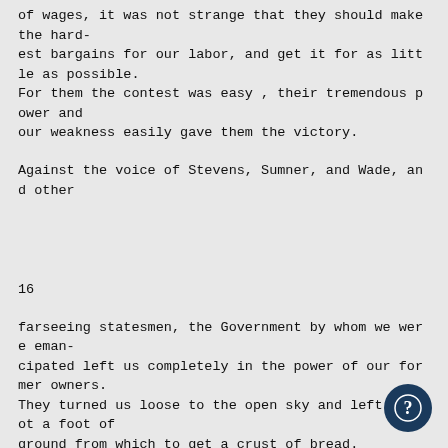of wages, it was not strange that they should make the hard-
est bargains for our labor, and get it for as little as possible.
For them the contest was easy , their tremendous power and
our weakness easily gave them the victory.
Against the voice of Stevens, Sumner, and Wade, and other
16
farseeing statesmen, the Government by whom we were eman-
cipated left us completely in the power of our former owners.
They turned us loose to the open sky and left us not a foot of
ground from which to get a crust of bread.
It did not do as well by us as Kussia did by her
orfs, or